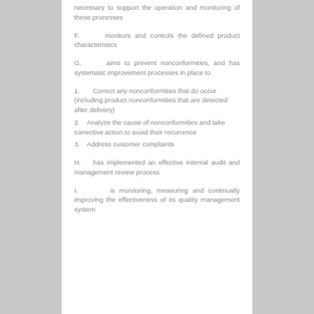necessary to support the operation and monitoring of these processes
F.     monitors and controls the defined product characteristics
G.     aims to prevent nonconformities, and has systematic improvement processes in place to
1.      Correct any nonconformities that do occur (including product nonconformities that are detected after delivery)
2.   Analyze the cause of nonconformities and take corrective action to avoid their recurrence
3.   Address customer complaints
H.   has implemented an effective internal audit and management review process
I.      is monitoring, measuring and continually improving the effectiveness of its quality management system